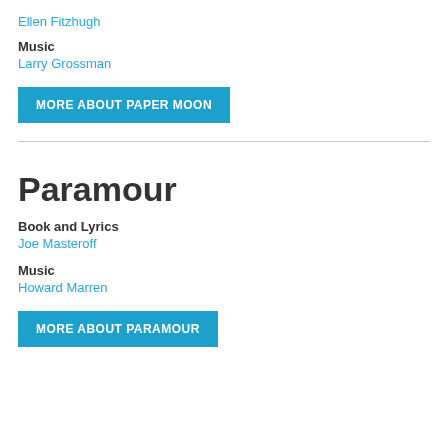Ellen Fitzhugh
Music
Larry Grossman
MORE ABOUT PAPER MOON
Paramour
Book and Lyrics
Joe Masteroff
Music
Howard Marren
MORE ABOUT PARAMOUR